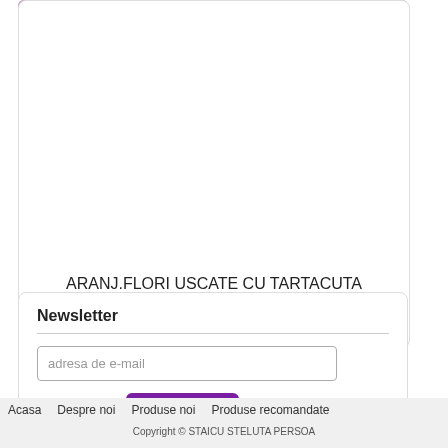[Figure (photo): Photo of a floral arrangement with dried flowers in a red decorated vase against a pink/purple background]
ARANJ.FLORI USCATE CU TARTACUTA
Cod: ATC15
vezi
Newsletter
adresa de e-mail
Dezabonare
Abonare
Acasa   Despre noi   Produse noi   Produse recomandate
Copyright © STAICU STELUTA PERSOA